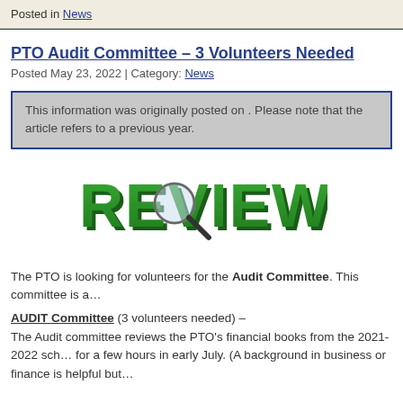Posted in News
PTO Audit Committee – 3 Volunteers Needed
Posted May 23, 2022 | Category: News
This information was originally posted on . Please note that the article refers to a previous year.
[Figure (illustration): Bold green 3D text spelling REVIEW with a magnifying glass over the letter E]
The PTO is looking for volunteers for the Audit Committee. This committee is a...
AUDIT Committee (3 volunteers needed) –
The Audit committee reviews the PTO's financial books from the 2021-2022 school year for a few hours in early July. (A background in business or finance is helpful but...